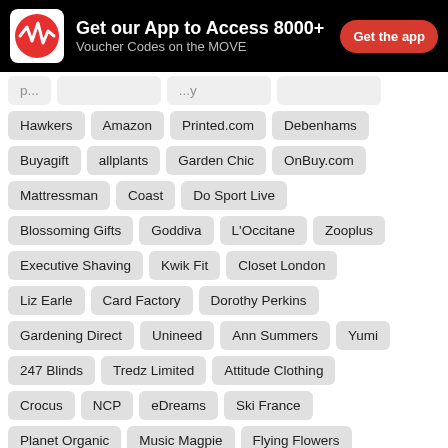[Figure (logo): App promotional banner with logo, text 'Get our App to Access 8000+ Voucher Codes on the MOVE' and 'Get the app' button]
Hawkers
Amazon
Printed.com
Debenhams
Buyagift
allplants
Garden Chic
OnBuy.com
Mattressman
Coast
Do Sport Live
Blossoming Gifts
Goddiva
L'Occitane
Zooplus
Executive Shaving
Kwik Fit
Closet London
Liz Earle
Card Factory
Dorothy Perkins
Gardening Direct
Unineed
Ann Summers
Yumi
247 Blinds
Tredz Limited
Attitude Clothing
Crocus
NCP
eDreams
Ski France
Planet Organic
Music Magpie
Flying Flowers
Craft Company
Swisse Me
Brown Bag Clothing